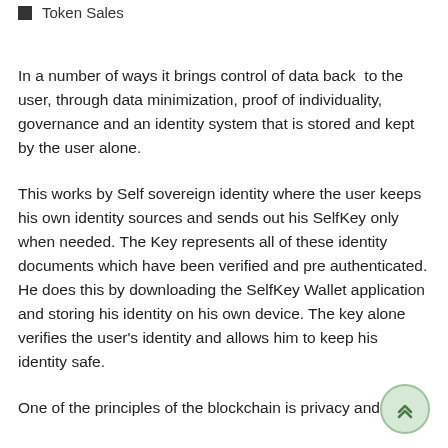Token Sales
In a number of ways it brings control of data back  to the user, through data minimization, proof of individuality, governance and an identity system that is stored and kept by the user alone.
This works by Self sovereign identity where the user keeps his own identity sources and sends out his SelfKey only when needed. The Key represents all of these identity documents which have been verified and pre authenticated. He does this by downloading the SelfKey Wallet application and storing his identity on his own device. The key alone verifies the user's identity and allows him to keep his identity safe.
One of the principles of the blockchain is privacy and